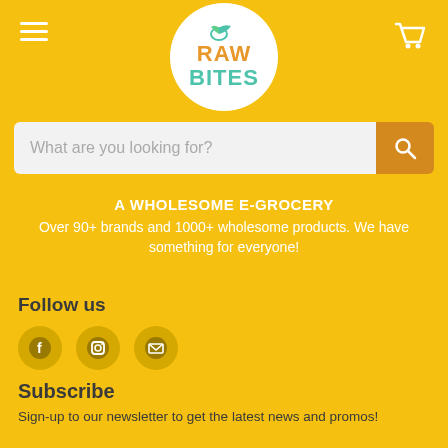[Figure (logo): Raw Bites logo — white circle with green leaves, orange RAW and teal BITES text]
What are you looking for?
A WHOLESOME E-GROCERY
Over 90+ brands and 1000+ wholesome products. We have something for everyone!
Follow us
[Figure (illustration): Facebook, Instagram, and email social icons]
Subscribe
Sign-up to our newsletter to get the latest news and promos!